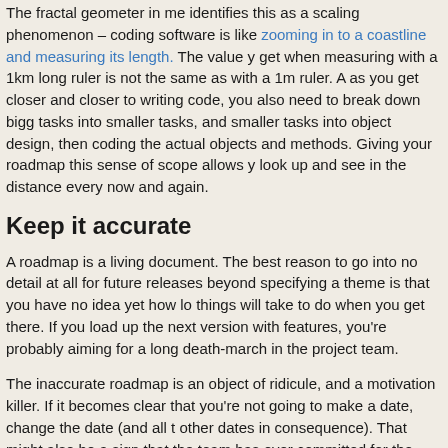The fractal geometer in me identifies this as a scaling phenomenon – coding software is like zooming in to a coastline and measuring its length. The value you get when measuring with a 1km long ruler is not the same as with a 1m ruler. As you get closer and closer to writing code, you also need to break down bigger tasks into smaller tasks, and smaller tasks into object design, then coding the actual objects and methods. Giving your roadmap this sense of scope allows you to look up and see in the distance every now and again.
Keep it accurate
A roadmap is a living document. The best reason to go into no detail at all for future releases beyond specifying a theme is that you have no idea yet how long things will take to do when you get there. If you load up the next version with features, you're probably aiming for a long death-march in the project team.
The inaccurate roadmap is an object of ridicule, and a motivation killer. If it becomes clear that you're not going to make a date, change the date (and all the other dates in consequence). That might also be a sign that the team has over-committed for the release, and an opportunity to bump some features.
Leave some empty seats